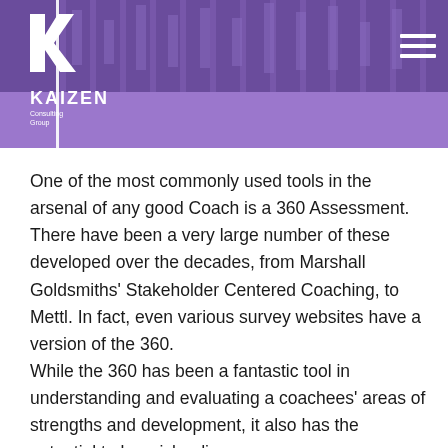KAIZEN Consulting Group
One of the most commonly used tools in the arsenal of any good Coach is a 360 Assessment. There have been a very large number of these developed over the decades, from Marshall Goldsmiths' Stakeholder Centered Coaching, to Mettl. In fact, even various survey websites have a version of the 360.
While the 360 has been a fantastic tool in understanding and evaluating a coachees' areas of strengths and development, it also has the potential to be misleading.